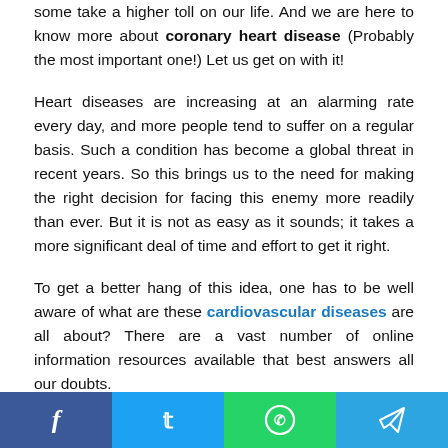some take a higher toll on our life. And we are here to know more about coronary heart disease (Probably the most important one!) Let us get on with it!
Heart diseases are increasing at an alarming rate every day, and more people tend to suffer on a regular basis. Such a condition has become a global threat in recent years. So this brings us to the need for making the right decision for facing this enemy more readily than ever. But it is not as easy as it sounds; it takes a more significant deal of time and effort to get it right.
To get a better hang of this idea, one has to be well aware of what are these cardiovascular diseases are all about? There are a vast number of online information resources available that best answers all our doubts.